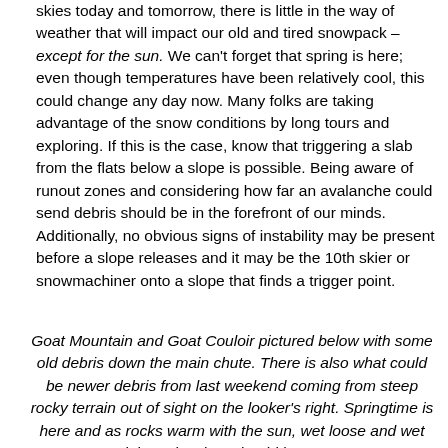skies today and tomorrow, there is little in the way of weather that will impact our old and tired snowpack – except for the sun. We can't forget that spring is here; even though temperatures have been relatively cool, this could change any day now. Many folks are taking advantage of the snow conditions by long tours and exploring. If this is the case, know that triggering a slab from the flats below a slope is possible. Being aware of runout zones and considering how far an avalanche could send debris should be in the forefront of our minds. Additionally, no obvious signs of instability may be present before a slope releases and it may be the 10th skier or snowmachiner onto a slope that finds a trigger point.
Goat Mountain and Goat Couloir pictured below with some old debris down the main chute. There is also what could be newer debris from last weekend coming from steep rocky terrain out of sight on the looker's right. Springtime is here and as rocks warm with the sun, wet loose and wet slab avalanches should be on our